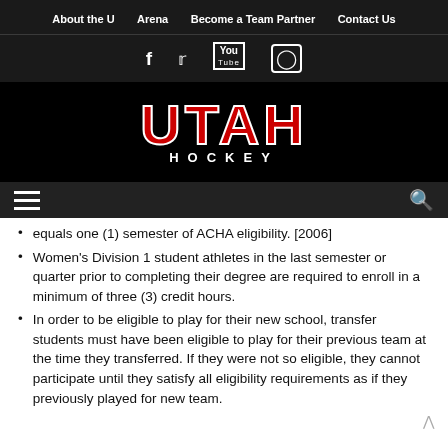About the U  Arena  Become a Team Partner  Contact Us
[Figure (logo): Utah Hockey logo — UTAH in bold red with white stroke, HOCKEY in white letters below, on black background]
equals one (1) semester of ACHA eligibility. [2006]
Women's Division 1 student athletes in the last semester or quarter prior to completing their degree are required to enroll in a minimum of three (3) credit hours.
In order to be eligible to play for their new school, transfer students must have been eligible to play for their previous team at the time they transferred. If they were not so eligible, they cannot participate until they satisfy all eligibility requirements as if they previously played for new team.